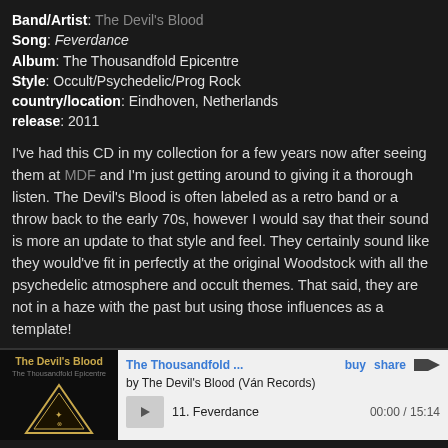Band/Artist: The Devil's Blood
Song: Feverdance
Album: The Thousandfold Epicentre
Style: Occult/Psychedelic/Prog Rock
country/location: Eindhoven, Netherlands
release: 2011
I've had this CD in my collection for a few years now after seeing them at MDF and I'm just getting around to giving it a thorough listen. The Devil's Blood is often labeled as a retro band or a throw back to the early 70s, however I would say that their sound is more an update to that style and feel. They certainly sound like they would've fit in perfectly at the original Woodstock with all the psychedelic atmosphere and occult themes. That said, they are not in a haze with the past but using those influences as a template!
[Figure (screenshot): Album art for The Devil's Blood - The Thousandfold Epicentre showing the band name and a triangular emblem on dark background]
The Thousandfold ... buy share /bc
by The Devil's Blood (Ván Records)
11. Feverdance   00:00 / 15:14